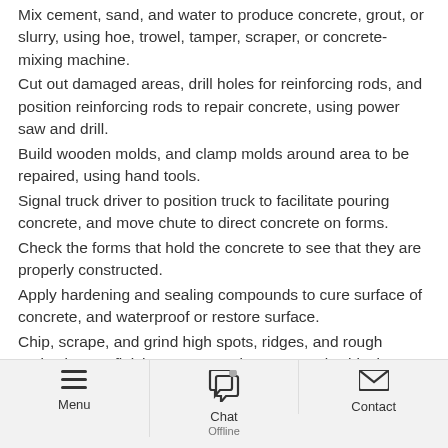Mix cement, sand, and water to produce concrete, grout, or slurry, using hoe, trowel, tamper, scraper, or concrete-mixing machine.
Cut out damaged areas, drill holes for reinforcing rods, and position reinforcing rods to repair concrete, using power saw and drill.
Build wooden molds, and clamp molds around area to be repaired, using hand tools.
Signal truck driver to position truck to facilitate pouring concrete, and move chute to direct concrete on forms.
Check the forms that hold the concrete to see that they are properly constructed.
Apply hardening and sealing compounds to cure surface of concrete, and waterproof or restore surface.
Chip, scrape, and grind high spots, ridges, and rough projections to finish concrete, using pneumatic chisels, power grinders, or hand tools.
Build wooden molds, and clamp molds around area to be repaired, using hand tools.
Menu | Chat Offline | Contact